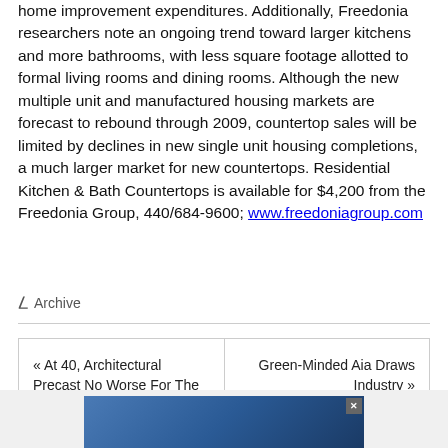home improvement expenditures. Additionally, Freedonia researchers note an ongoing trend toward larger kitchens and more bathrooms, with less square footage allotted to formal living rooms and dining rooms. Although the new multiple unit and manufactured housing markets are forecast to rebound through 2009, countertop sales will be limited by declines in new single unit housing completions, a much larger market for new countertops. Residential Kitchen & Bath Countertops is available for $4,200 from the Freedonia Group, 440/684-9600; www.freedoniagroup.com
Archive
« At 40, Architectural Precast No Worse For The Weather
Green-Minded Aia Draws Industry »